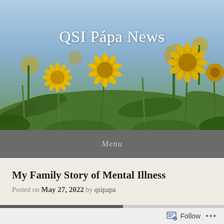[Figure (photo): Close-up photo of yellow dandelion flowers in a field with green stems and grass, blue sky in background]
QSI Pápa News
Menu
My Family Story of Mental Illness
Posted on May 27, 2022 by qsipapa
Follow ...